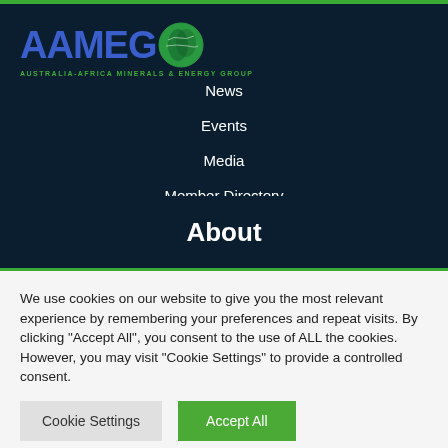[Figure (logo): AAMEG (Australia-Africa Minerals & Energy Group) logo with globe icon and green subtitle text]
News
Events
Media
Member Directory
About
We use cookies on our website to give you the most relevant experience by remembering your preferences and repeat visits. By clicking "Accept All", you consent to the use of ALL the cookies. However, you may visit "Cookie Settings" to provide a controlled consent.
Cookie Settings | Accept All